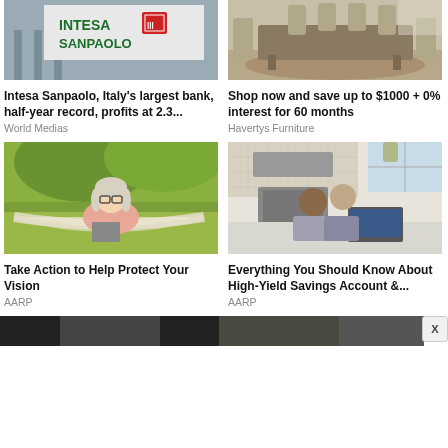[Figure (photo): Intesa Sanpaolo bank sign/logo on building facade]
[Figure (photo): Dining room furniture set with table and chairs]
Intesa Sanpaolo, Italy's largest bank, half-year record, profits at 2.3...
World Medias
Shop now and save up to $1000 + 0% interest for 60 months
Havertys Furniture
[Figure (photo): Older woman with glasses smiling in a hammock reading a book outdoors]
[Figure (photo): Couple looking at laptop together in a modern kitchen]
Take Action to Help Protect Your Vision
AARP
Everything You Should Know About High-Yield Savings Account &...
AARP
[Figure (photo): Partial dark image at bottom left]
[Figure (photo): Partial dark image at bottom right]